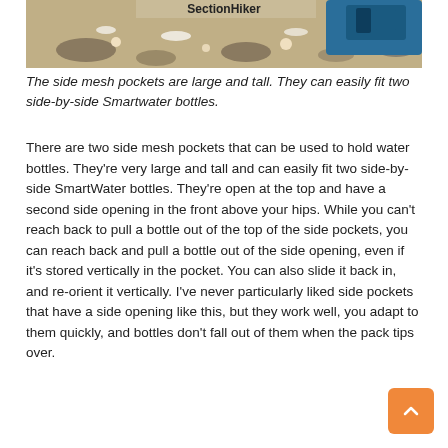[Figure (photo): Close-up photo of rocky/sandy ground with a backpack side mesh pocket visible, showing SmartWater bottles. SectionHiker logo/text visible at top.]
The side mesh pockets are large and tall. They can easily fit two side-by-side Smartwater bottles.
There are two side mesh pockets that can be used to hold water bottles. They're very large and tall and can easily fit two side-by-side SmartWater bottles. They're open at the top and have a second side opening in the front above your hips. While you can't reach back to pull a bottle out of the top of the side pockets, you can reach back and pull a bottle out of the side opening, even if it's stored vertically in the pocket. You can also slide it back in, and re-orient it vertically. I've never particularly liked side pockets that have a side opening like this, but they work well, you adapt to them quickly, and bottles don't fall out of them when the pack tips over.